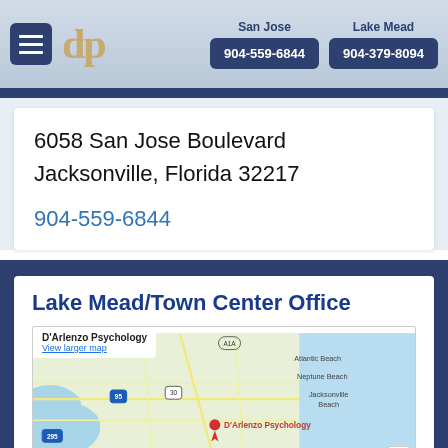San Jose 904-559-6844 | Lake Mead 904-379-8094
6058 San Jose Boulevard
Jacksonville, Florida 32217
904-559-6844
Lake Mead/Town Center Office
[Figure (map): Google Maps showing D'Arlenzo Psychology location near Jacksonville Beach area with a red map pin and label 'D'Arlenzo Psychology'. Includes info box with business name and 'View larger map' link.]